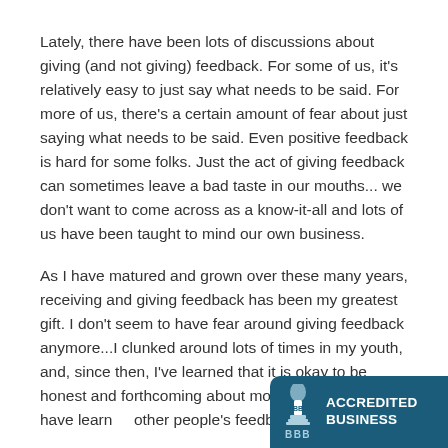Lately, there have been lots of discussions about giving (and not giving) feedback. For some of us, it's relatively easy to just say what needs to be said. For more of us, there's a certain amount of fear about just saying what needs to be said. Even positive feedback is hard for some folks. Just the act of giving feedback can sometimes leave a bad taste in our mouths... we don't want to come across as a know-it-all and lots of us have been taught to mind our own business.
As I have matured and grown over these many years, receiving and giving feedback has been my greatest gift. I don't seem to have fear around giving feedback anymore...I clunked around lots of times in my youth, and, since then, I've learned that it is okay to be honest and forthcoming about most anything. And, I have learn[ed to appreciate] other people's feedback and styles of [giving it].
[Figure (logo): BBB Accredited Business badge — dark teal rounded rectangle with BBB torch logo on the left and 'ACCREDITED BUSINESS' text in white bold on the right, 'BBB' label below the torch in light blue.]